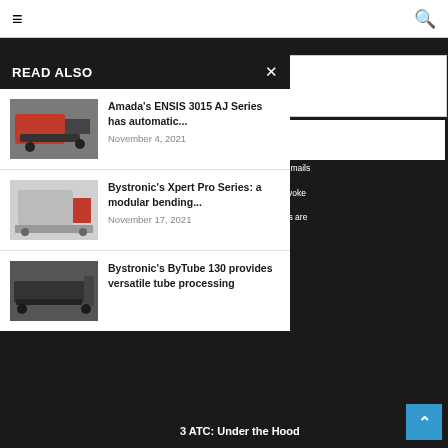≡  [navigation bar]  🔍
READ ALSO
Amada's ENSIS 3015 AJ Series has automatic...
November 4, 2021
Bystronic's Xpert Pro Series: a modular bending...
November 17, 2021
Bystronic's ByTube 130 provides versatile tube processing
nting to receive marketing emails , 119 S. Prairie Ave., hwavemfg.com. You can revoke me by using the ottom of every email. Emails are
IBE
3 ATC: Under the Hood